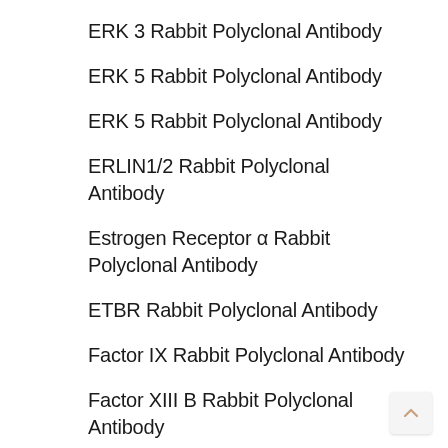ERK 3 Rabbit Polyclonal Antibody
ERK 5 Rabbit Polyclonal Antibody
ERK 5 Rabbit Polyclonal Antibody
ERLIN1/2 Rabbit Polyclonal Antibody
Estrogen Receptor α Rabbit Polyclonal Antibody
ETBR Rabbit Polyclonal Antibody
Factor IX Rabbit Polyclonal Antibody
Factor XIII B Rabbit Polyclonal Antibody
FAM3D Rabbit Polyclonal Antibody
FAM48A Rabbit Polyclonal Antibody